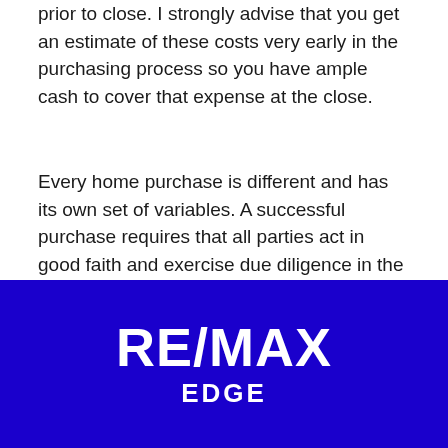prior to close. I strongly advise that you get an estimate of these costs very early in the purchasing process so you have ample cash to cover that expense at the close.
Every home purchase is different and has its own set of variables. A successful purchase requires that all parties act in good faith and exercise due diligence in the transaction.
[Figure (logo): RE/MAX EDGE logo — white text on dark blue background]